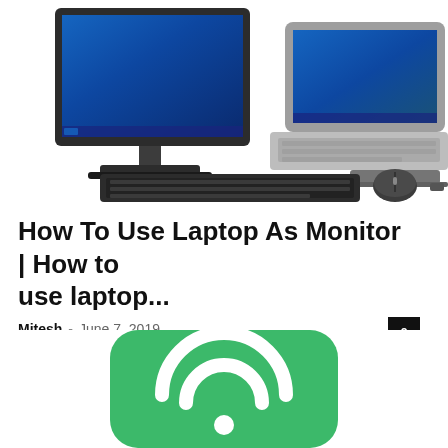[Figure (photo): Photo of a desktop monitor and a laptop computer side by side on a white background, with a keyboard and mouse in front]
How To Use Laptop As Monitor | How to use laptop...
Mitesh  -  June 7, 2019
[Figure (illustration): Green rounded square icon with a white Wi-Fi or AirPlay-style symbol (semicircle arcs) in the center]